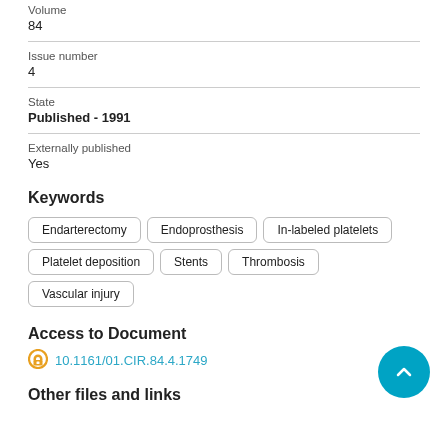Volume
84
Issue number
4
State
Published - 1991
Externally published
Yes
Keywords
Endarterectomy
Endoprosthesis
In-labeled platelets
Platelet deposition
Stents
Thrombosis
Vascular injury
Access to Document
10.1161/01.CIR.84.4.1749
Other files and links